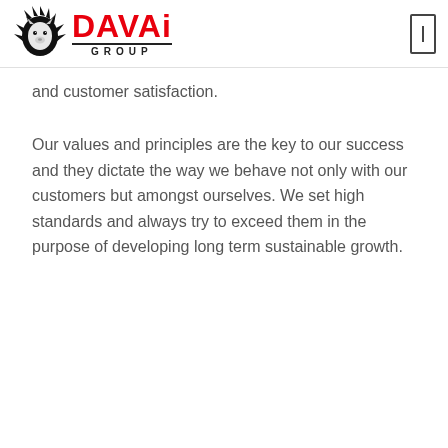DAVAi GROUP
and customer satisfaction.
Our values and principles are the key to our success and they dictate the way we behave not only with our customers but amongst ourselves. We set high standards and always try to exceed them in the purpose of developing long term sustainable growth.